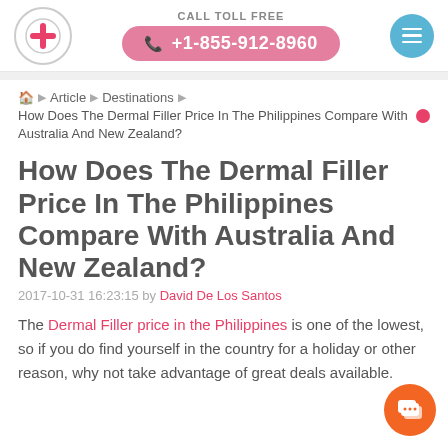CALL TOLL FREE +1-855-912-8960
Article > Destinations > How Does The Dermal Filler Price In The Philippines Compare With Australia And New Zealand?
How Does The Dermal Filler Price In The Philippines Compare With Australia And New Zealand?
2017-10-31 16:23:15 by David De Los Santos
The Dermal Filler price in the Philippines is one of the lowest, so if you do find yourself in the country for a holiday or other reason, why not take advantage of great deals available.